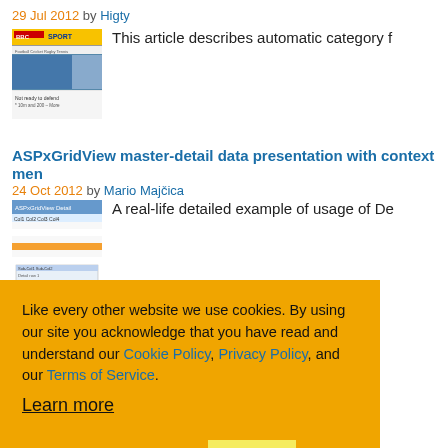29 Jul 2012 by Higty
[Figure (screenshot): Thumbnail screenshot of a BBC Sport website article with athlete running image]
This article describes automatic category f...
ASPxGridView master-detail data presentation with context men...
24 Oct 2012 by Mario Majčica
[Figure (screenshot): Thumbnail screenshot of ASPxGridView data grid interface]
A real-life detailed example of usage of De...
...ary Pattern based Te...
...sing Local Binary...
...art 1 - Windows Medi...
Like every other website we use cookies. By using our site you acknowledge that you have read and understand our Cookie Policy, Privacy Policy, and our Terms of Service. Learn more
Ask me later
Decline
Allow cookies